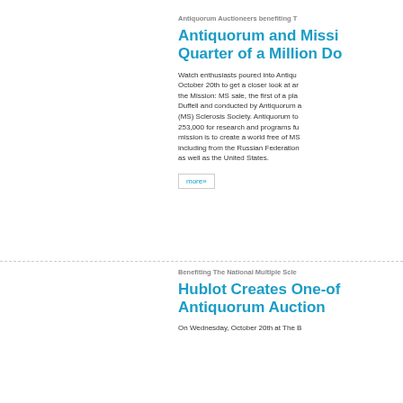Antiquorum Auctioneers benefiting T
Antiquorum and Missi Quarter of a Million Do
Watch enthusiasts poured into Antiqu October 20th to get a closer look at a the Mission: MS sale, the first of a pla Duffell and conducted by Antiquorum (MS) Sclerosis Society. Antiquorum to 253,000 for research and programs fu mission is to create a world free of MS including from the Russian Federation as well as the United States.
more»
Benefiting The National Multiple Scle
Hublot Creates One-of Antiquorum Auction
On Wednesday, October 20th at The B